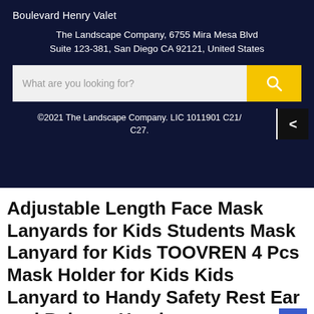Boulevard Henry Valet
The Landscape Company, 6755 Mira Mesa Blvd Suite 123-381, San Diego CA 92121, United States
What are you looking for?
©2021 The Landscape Company. LIC 1011901 C21/ C27.
Adjustable Length Face Mask Lanyards for Kids Students Mask Lanyard for Kids TOOVREN 4 Pcs Mask Holder for Kids Kids Lanyard to Handy Safety Rest Ear and Release Hands